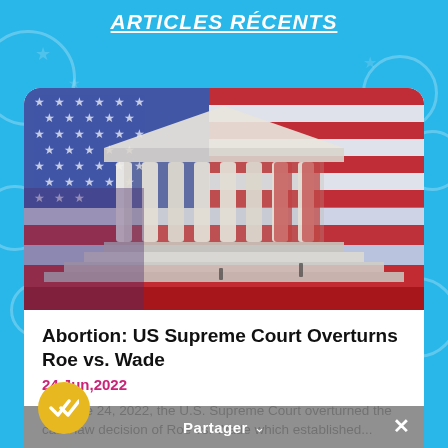Articles récents
[Figure (photo): Composite photo of the US Supreme Court building overlaid with an American flag, showing columns, steps, and red, white, and blue flag stripes and stars]
Abortion: US Supreme Court Overturns Roe vs. Wade
24,Jun,2022
On June 24, 2022, the U.S. Supreme Court overturned the case law decision of Roe vs. Wade which established...